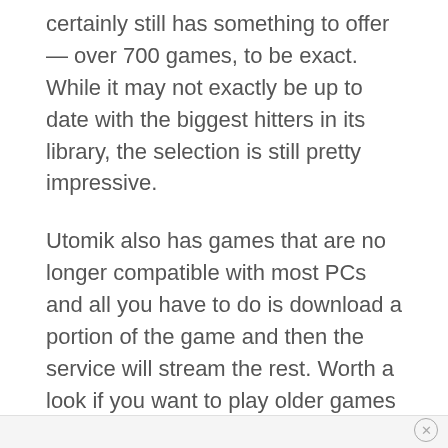certainly still has something to offer — over 700 games, to be exact. While it may not exactly be up to date with the biggest hitters in its library, the selection is still pretty impressive.
Utomik also has games that are no longer compatible with most PCs and all you have to do is download a portion of the game and then the service will stream the rest. Worth a look if you want to play older games at a very fair monthly price.
DEAL: Free 14-day trial